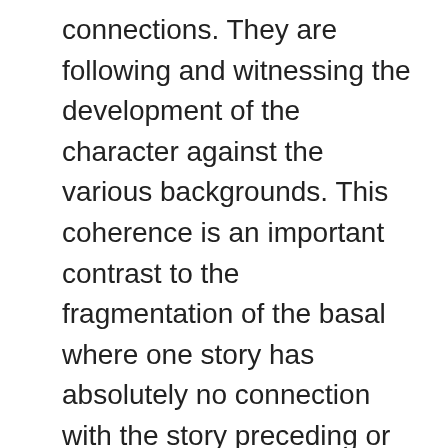connections. They are following and witnessing the development of the character against the various backgrounds. This coherence is an important contrast to the fragmentation of the basal where one story has absolutely no connection with the story preceding or following. Reading a basal is a transient experience, like someone who moves often and never has the time or opportunity to develop more than superficial friendships. Reading a novel allows the student to develop strong bonds to or antipathies toward the characters in the story. This is a crucial difference. Another advantage I've found is the flexibility.